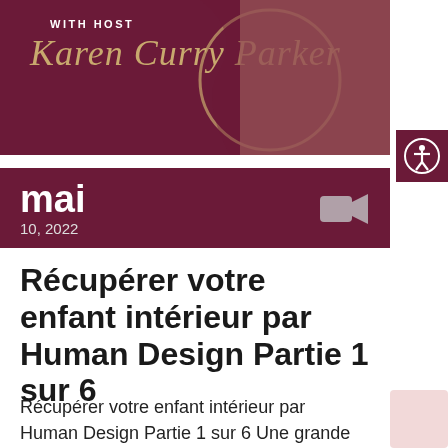[Figure (photo): Podcast banner with dark maroon background. Text reads 'WITH HOST' and 'Karen Curry Parker' in gold italic script. A photo of a woman is partially visible on the right side.]
[Figure (logo): Accessibility icon button — circular person silhouette with arms outstretched, on dark maroon background.]
mai
10, 2022
Récupérer votre enfant intérieur par Human Design Partie 1 sur 6
Récupérer votre enfant intérieur par Human Design Partie 1 sur 6 Une grande partie de ce que mes clients découvrent, c'est qu'à la racine de leur douleur se trouve un événement, une expérience ou